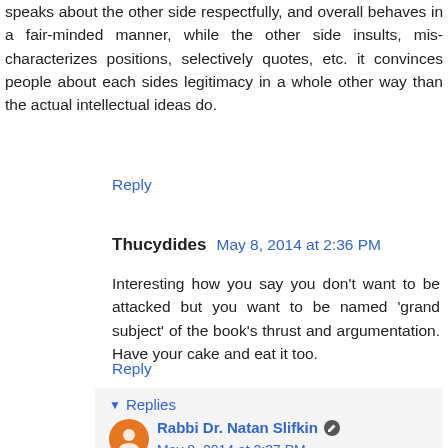speaks about the other side respectfully, and overall behaves in a fair-minded manner, while the other side insults, mis-characterizes positions, selectively quotes, etc. it convinces people about each sides legitimacy in a whole other way than the actual intellectual ideas do.
Reply
Thucydides  May 8, 2014 at 2:36 PM
Interesting how you say you don't want to be attacked but you want to be named 'grand subject' of the book's thrust and argumentation. Have your cake and eat it too.
Reply
Replies
Rabbi Dr. Natan Slifkin  May 8, 2014 at 2:37 PM
I perfectly fine with having my work critiqued (as long as it is represented accurately). I have never said otherwise.